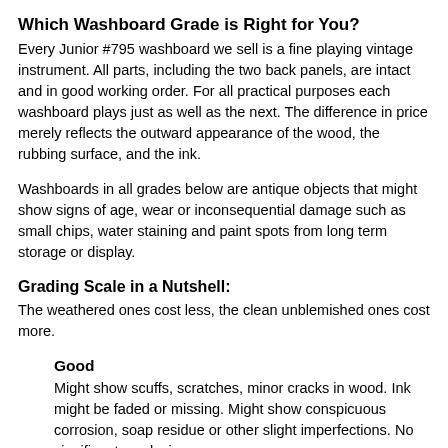Which Washboard Grade is Right for You?
Every Junior #795 washboard we sell is a fine playing vintage instrument. All parts, including the two back panels, are intact and in good working order. For all practical purposes each washboard plays just as well as the next. The difference in price merely reflects the outward appearance of the wood, the rubbing surface, and the ink.
Washboards in all grades below are antique objects that might show signs of age, wear or inconsequential damage such as small chips, water staining and paint spots from long term storage or display.
Grading Scale in a Nutshell:
The weathered ones cost less, the clean unblemished ones cost more.
Good
Might show scuffs, scratches, minor cracks in wood. Ink might be faded or missing. Might show conspicuous corrosion, soap residue or other slight imperfections. No significant cracks in